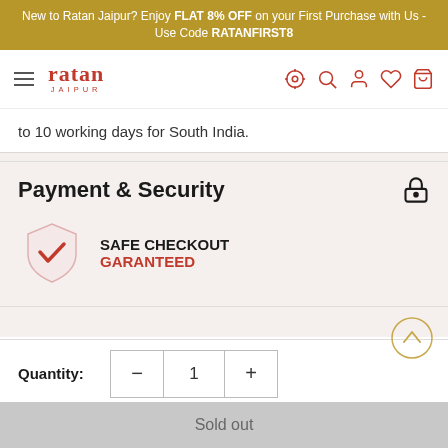New to Ratan Jaipur? Enjoy FLAT 8% OFF on your First Purchase with Us - Use Code RATANFIRST8
ratan JAIPUR
to 10 working days for South India.
Payment & Security
[Figure (illustration): Shield with checkmark icon indicating safe checkout]
SAFE CHECKOUT GARANTEED
[Figure (illustration): Scroll to top arrow button circle]
Quantity: 1
Sold out